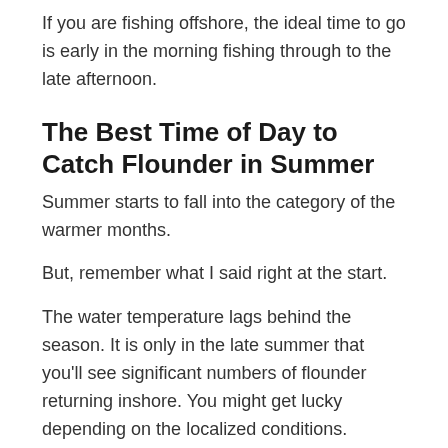If you are fishing offshore, the ideal time to go is early in the morning fishing through to the late afternoon.
The Best Time of Day to Catch Flounder in Summer
Summer starts to fall into the category of the warmer months.
But, remember what I said right at the start.
The water temperature lags behind the season. It is only in the late summer that you'll see significant numbers of flounder returning inshore. You might get lucky depending on the localized conditions.
If the water is warming up and you can coincide it with